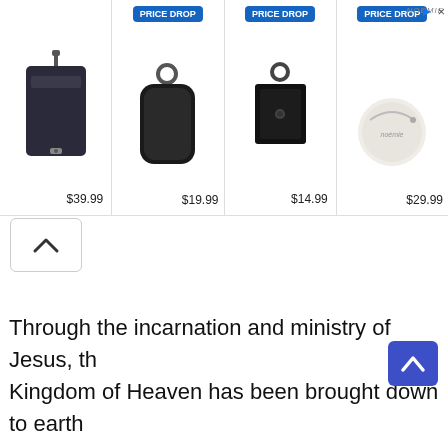[Figure (screenshot): Advertisement banner showing 4 products with prices. Item 1: dark bag/wallet with strap, $39.99. Item 2: black leather AirPod case with PRICE DROP badge, $19.99. Item 3: black leather keychain pouch with PRICE DROP badge, $14.99. Item 4: white round coin purse with PRICE DROP badge, $29.99. NOEMIE branding visible. Ad close/info icons top right.]
[Figure (screenshot): Scroll-up chevron button (caret up) in a white rounded box with border, positioned below the ad banner on the left side.]
[Figure (screenshot): Blue scroll-to-top button with white chevron up arrow, positioned bottom right of page.]
Through the incarnation and ministry of Jesus, the Kingdom of Heaven has been brought down to earth